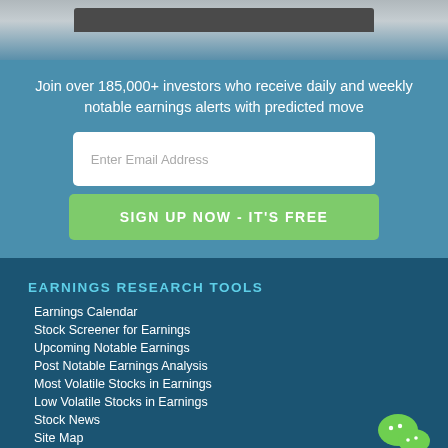[Figure (screenshot): Top portion showing a device/tablet screen edge with gray and blue gradient background]
Join over 185,000+ investors who receive daily and weekly notable earnings alerts with predicted move
[Figure (other): Email address input field with placeholder text 'Enter Email Address']
SIGN UP NOW - IT'S FREE
EARNINGS RESEARCH TOOLS
Earnings Calendar
Stock Screener for Earnings
Upcoming Notable Earnings
Post Notable Earnings Analysis
Most Volatile Stocks in Earnings
Low Volatile Stocks in Earnings
Stock News
Site Map
[Figure (logo): WeChat green logo icon in bottom right corner]